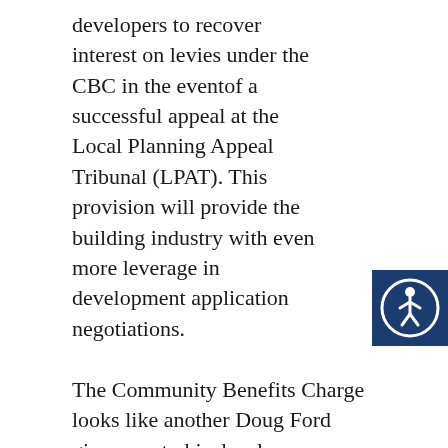developers to recover interest on levies under the CBC in the eventof a successful appeal at the Local Planning Appeal Tribunal (LPAT). This provision will provide the building industry with even more leverage in development application negotiations.
[Figure (illustration): Accessibility icon — white wheelchair/person symbol in a circle on a dark blue square background]
The Community Benefits Charge looks like another Doug Ford giveaway to his developer supporters, at the expense of the people of Ontario and their communities. The CBC does not provide a single new tool to increase the supply of affordable housing, despite claims from the province and their friends in the development industry. Municipalities will see their ability to provide services such as parks, daycares, recreation facilities, and libraries reduced. These amenities are essential to ensuring that the communities most affected by rapid growth